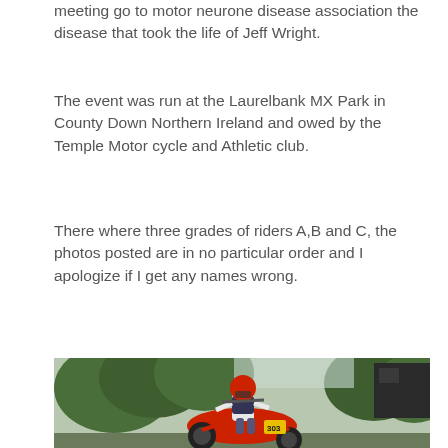meeting go to motor neurone disease association the disease that took the life of Jeff Wright.
The event was run at the Laurelbank MX Park in County Down Northern Ireland and owed by the Temple Motor cycle and Athletic club.
There where three grades of riders A,B and C, the photos posted are in no particular order and I apologize if I get any names wrong.
[Figure (photo): A motocross rider in red helmet and gear jumping on a red dirt bike numbered 303, with trees and a dark building in the background.]